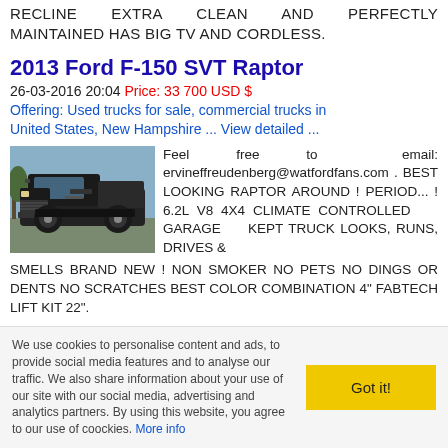RECLINE EXTRA CLEAN AND PERFECTLY MAINTAINED HAS BIG TV AND CORDLESS.
2013 Ford F-150 SVT Raptor
26-03-2016 20:04 Price: 33 700 USD $
Offering: Used trucks for sale, commercial trucks in United States, New Hampshire ... View detailed ...
[Figure (photo): Black Ford F-150 SVT Raptor truck, front 3/4 view, outdoors]
Feel free to email: ervineffreudenberg@watfordfans.com . BEST LOOKING RAPTOR AROUND ! PERIOD... ! 6.2L V8 4X4 CLIMATE CONTROLLED GARAGE KEPT TRUCK LOOKS, RUNS, DRIVES & SMELLS BRAND NEW ! NON SMOKER NO PETS NO DINGS OR DENTS NO SCRATCHES BEST COLOR COMBINATION 4" FABTECH LIFT KIT 22".
Incedo
25-03-2016 07:42
Offering: Other jobs in United States, New Hampshire ...
We use cookies to personalise content and ads, to provide social media features and to analyse our traffic. We also share information about your use of our site with our social media, advertising and analytics partners. By using this website, you agree to our use of coockies. More info